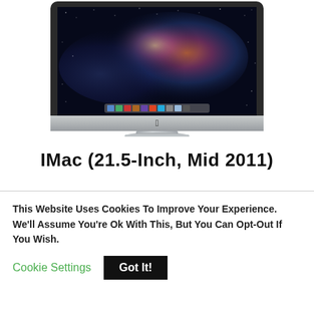[Figure (photo): iMac (21.5-inch) computer showing the Mac OS X Lion galaxy desktop wallpaper, photographed from slightly above, showing the silver aluminum body and Apple logo on the front bezel, with a slim silver stand.]
IMac (21.5-Inch, Mid 2011)
This Website Uses Cookies To Improve Your Experience. We'll Assume You're Ok With This, But You Can Opt-Out If You Wish.
Cookie Settings    Got It!